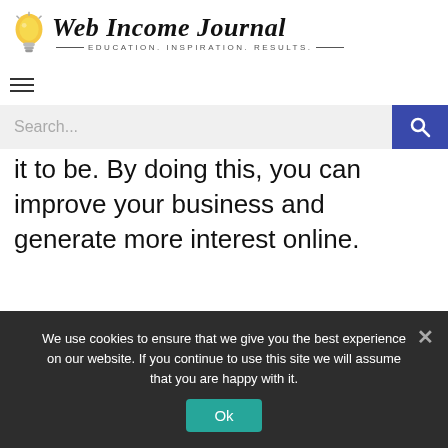[Figure (logo): Web Income Journal logo with lightbulb icon and tagline EDUCATION. INSPIRATION. RESULTS.]
[Figure (screenshot): Search bar with text 'Search...' and blue search button with magnifying glass icon]
it to be. By doing this, you can improve your business and generate more interest online.
Read More →
We use cookies to ensure that we give you the best experience on our website. If you continue to use this site we will assume that you are happy with it.
Ok